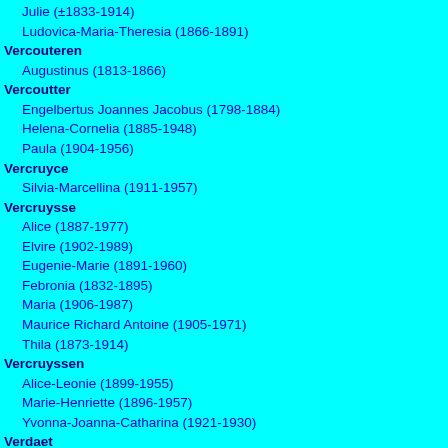Julie (±1833-1914)
Ludovica-Maria-Theresia (1866-1891)
Vercouteren
Augustinus (1813-1866)
Vercoutter
Engelbertus Joannes Jacobus (1798-1884)
Helena-Cornelia (1885-1948)
Paula (1904-1956)
Vercruyce
Silvia-Marcellina (1911-1957)
Vercruysse
Alice (1887-1977)
Elvire (1902-1989)
Eugenie-Marie (1891-1960)
Febronia (1832-1895)
Maria (1906-1987)
Maurice Richard Antoine (1905-1971)
Thila (1873-1914)
Vercruyssen
Alice-Leonie (1899-1955)
Marie-Henriette (1896-1957)
Yvonna-Joanna-Catharina (1921-1930)
Verdaet
Maria Theresia (1885-1952)
Verdegem
Angelus (1803-1869)
Verdeure
Emma (1881-1965)